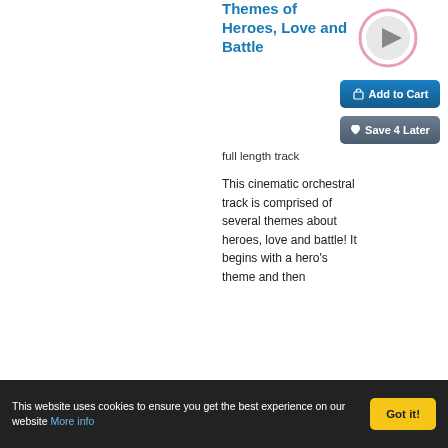Themes of Heroes, Love and Battle
[Figure (other): Play button circular icon with pink/rose border and grey triangle]
[Figure (other): Add to Cart button (blue)]
[Figure (other): Save 4 Later button (dark grey/slate)]
full length track
This cinematic orchestral track is comprised of several themes about heroes, love and battle! It begins with a hero's theme and then
This website uses cookies to ensure you get the best experience on our website More info
Got it!